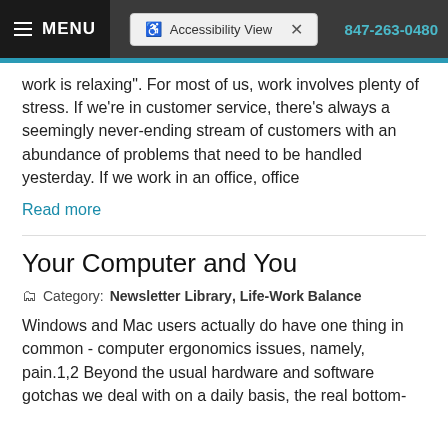MENU  Accessibility View  847-263-0480
work is relaxing". For most of us, work involves plenty of stress. If we're in customer service, there's always a seemingly never-ending stream of customers with an abundance of problems that need to be handled yesterday. If we work in an office, office
Read more
Your Computer and You
Category: Newsletter Library, Life-Work Balance
Windows and Mac users actually do have one thing in common - computer ergonomics issues, namely, pain.1,2 Beyond the usual hardware and software gotchas we deal with on a daily basis, the real bottom-line question is...